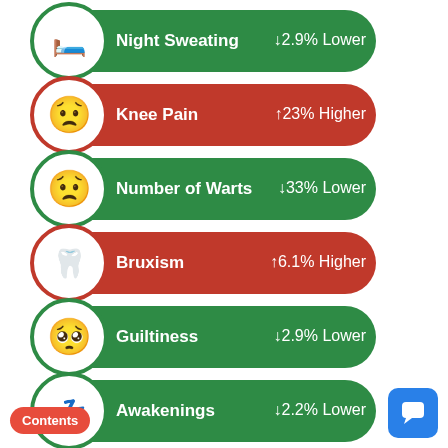Night Sweating ↓2.9% Lower
Knee Pain ↑23% Higher
Number of Warts ↓33% Lower
Bruxism ↑6.1% Higher
Guiltiness ↓2.9% Lower
Awakenings ↓2.2% Lower